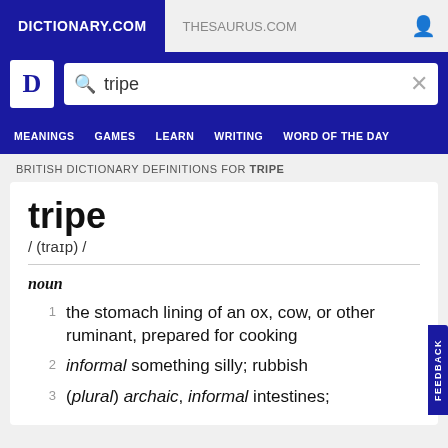DICTIONARY.COM | THESAURUS.COM
[Figure (screenshot): Dictionary.com logo with search bar containing 'tripe']
BRITISH DICTIONARY DEFINITIONS FOR TRIPE
tripe
/ (traɪp) /
noun
1  the stomach lining of an ox, cow, or other ruminant, prepared for cooking
2  informal something silly; rubbish
3  (plural) archaic, informal intestines;